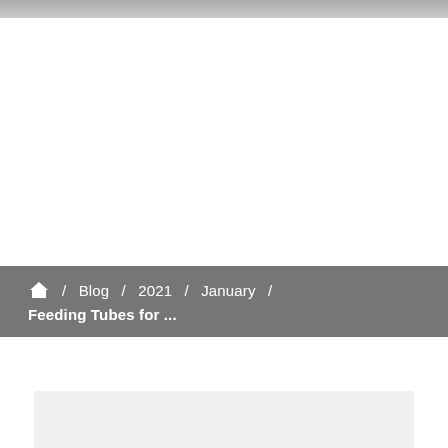/ Blog / 2021 / January / Feeding Tubes for ...